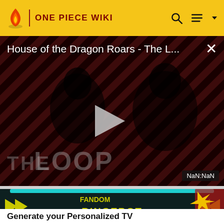ONE PIECE WIKI
[Figure (screenshot): Video player showing 'House of the Dragon Roars - The L...' with a play button in the center, diagonal striped red/black background, two people visible, THE LOOP branding, NaN:NaN timestamp badge, and close X button]
[Figure (screenshot): Fandom Bingebot promotional video thumbnail with teal arcade-style frame, yellow chevron arrows, and text 'FANDOM BINGEBOT']
Generate your Personalized TV